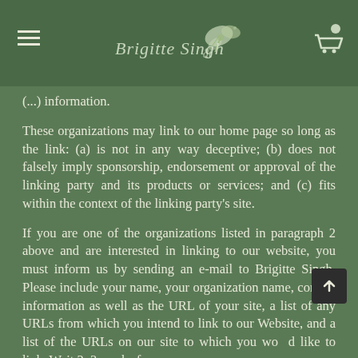Brigitte Singh [logo with floral illustration]
(...) information.
These organizations may link to our home page so long as the link: (a) is not in any way deceptive; (b) does not falsely imply sponsorship, endorsement or approval of the linking party and its products or services; and (c) fits within the context of the linking party's site.
If you are one of the organizations listed in paragraph 2 above and are interested in linking to our website, you must inform us by sending an e-mail to Brigitte Singh. Please include your name, your organization name, contact information as well as the URL of your site, a list of any URLs from which you intend to link to our Website, and a list of the URLs on our site to which you would like to link. Wait 2-3 weeks for a response.
Approved organizations may hyperlink to our Website as follows: